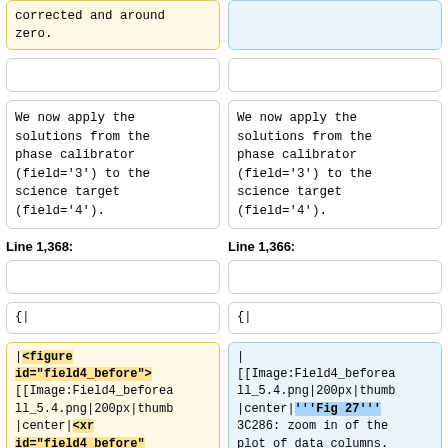corrected and around zero.
We now apply the solutions from the phase calibrator (field='3') to the science target (field='4').
We now apply the solutions from the phase calibrator (field='3') to the science target (field='4').
Line 1,368:
Line 1,366:
{|
{|
|<figure id="field4_before">[[Image:Field4_beforeall_5.4.png|200px|thumb|center|<xr id="field4_before" nolink/> 3C286: zoom in of the
|[[Image:Field4_beforeall_5.4.png|200px|thumb|center|'''Fig 27''' 3C286: zoom in of the plot of data columns. Tran us nal of